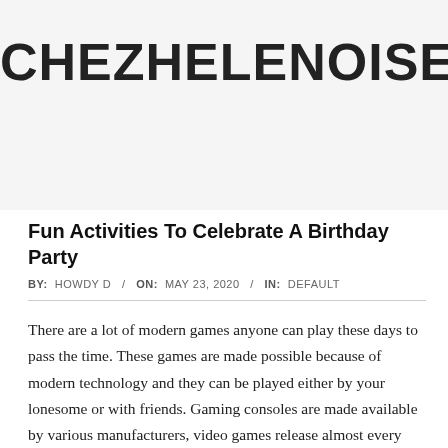CHEZHELENOISE
Fun Activities To Celebrate A Birthday Party
BY: HOWDY D / ON: MAY 23, 2020 / IN: DEFAULT
There are a lot of modern games anyone can play these days to pass the time. These games are made possible because of modern technology and they can be played either by your lonesome or with friends. Gaming consoles are made available by various manufacturers, video games release almost every month, and arcade shops are spread out in malls. It is truly fun and entertaining to play these modern games but sometimes it is the simple ones that are more fun to play. If you are looking for an alternative game that